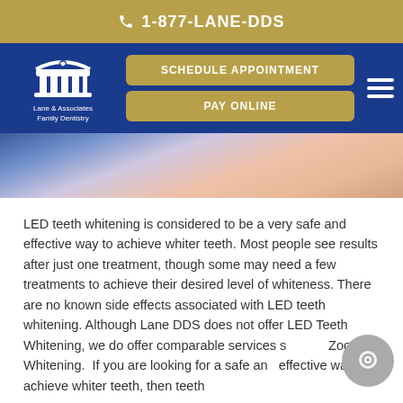1-877-LANE-DDS
[Figure (logo): Lane & Associates Family Dentistry logo with white building/columns icon on navy background, with gold Schedule Appointment and Pay Online buttons and hamburger menu]
[Figure (photo): Close-up blurred photo of dental procedure/teeth whitening treatment with blue and pink/peach tones]
LED teeth whitening is considered to be a very safe and effective way to achieve whiter teeth. Most people see results after just one treatment, though some may need a few treatments to achieve their desired level of whiteness. There are no known side effects associated with LED teeth whitening. Although Lane DDS does not offer LED Teeth Whitening, we do offer comparable services such as Zoom Whitening. If you are looking for a safe and effective way to achieve whiter teeth, then teeth